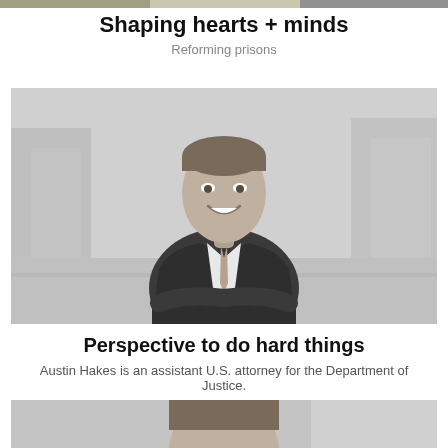[Figure (photo): Top strip photo (partial, cropped) - people in grayscale]
Shaping hearts + minds
Reforming prisons
[Figure (photo): Black and white professional portrait of Austin Hakes, a man in a dark suit with arms crossed, smiling, standing in front of an urban blurred background]
Perspective to do hard things
Austin Hakes is an assistant U.S. attorney for the Department of Justice.
[Figure (photo): Bottom partial photo (cropped) - person in grayscale, partial head visible]